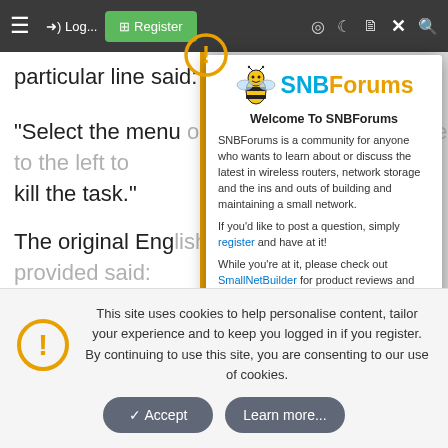[Figure (screenshot): SNBForums website screenshot with navigation bar showing hamburger menu, login, register button, and icons]
particular line said:
"Select the menu option and click the mouse to the left to kill the task."
The original English version that we provided said:
"Select the menu option and click the left mouse button to execute the task."
[Figure (screenshot): SNBForums welcome modal dialog with logo, welcome text, community description, and last edited date Mar 4, 2022]
Welcome To SNBForums
SNBForums is a community for anyone who wants to learn about or discuss the latest in wireless routers, network storage and the ins and outs of building and maintaining a small network.
If you'd like to post a question, simply register and have at it!
While you're at it, please check out SmallNetBuilder for product reviews and our famous Router Charts, Ranker and plenty more!
Last edited: Mar 4, 2022
This site uses cookies to help personalise content, tailor your experience and to keep you logged in if you register.
By continuing to use this site, you are consenting to our use of cookies.